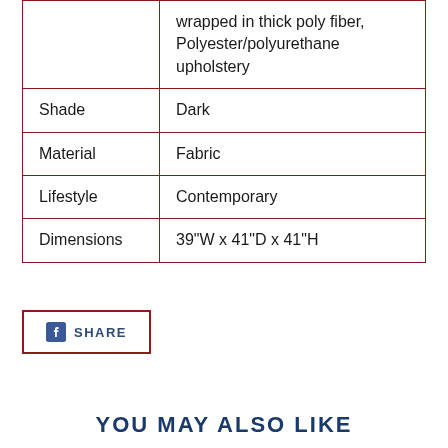|  | wrapped in thick poly fiber, Polyester/polyurethane upholstery |
| Shade | Dark |
| Material | Fabric |
| Lifestyle | Contemporary |
| Dimensions | 39"W x 41"D x 41"H |
SHARE
YOU MAY ALSO LIKE